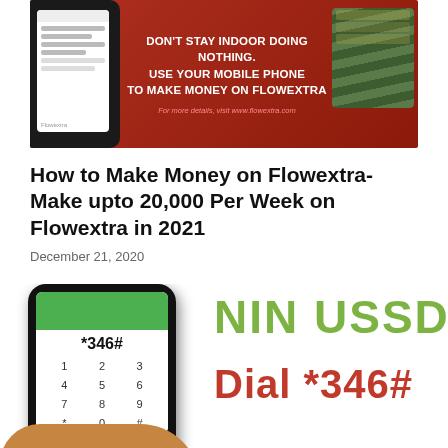[Figure (infographic): Promotional banner for Flowextra showing a smartphone on the left, text in center reading DON'T STAY INDOOR DOING NOTHING. USE YOUR MOBILE PHONE TO MAKE MONEY ON FLOWEXTRA, with a stack of cash on the right and a URL at the bottom in red italic.]
How to Make Money on Flowextra-Make upto 20,000 Per Week on Flowextra in 2021
December 21, 2020
[Figure (photo): A hand holding a smartphone displaying *346# USSD code screen with a keypad, next to large green text reading NIN USSD and brown/red text reading Dial *346#]